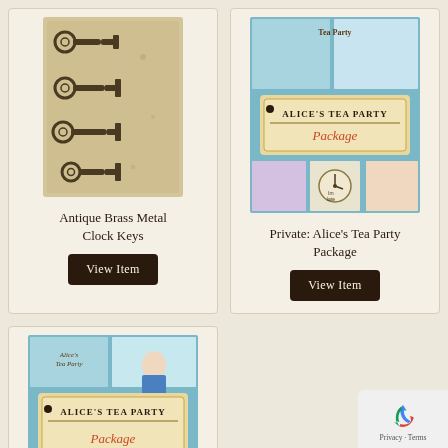[Figure (photo): Antique brass metal clock keys product image on aged paper background]
Antique Brass Metal Clock Keys
View Item
[Figure (photo): Alice's Tea Party Package — decorative scrapbooking product collage with vintage illustrations]
Private: Alice's Tea Party Package
View Item
[Figure (photo): Alice's Tea Party Package — second product image showing similar decorative scrapbooking collage]
[Figure (logo): reCAPTCHA privacy badge with recycling arrow icon and Privacy - Terms text]